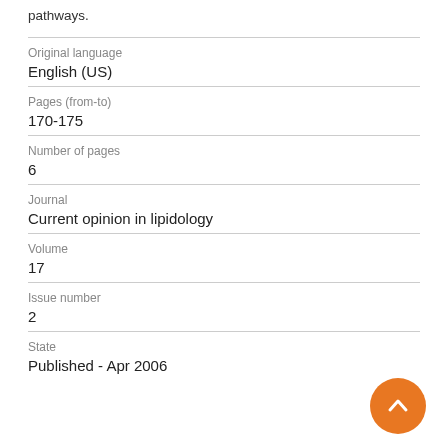pathways.
| Original language | English (US) |
| Pages (from-to) | 170-175 |
| Number of pages | 6 |
| Journal | Current opinion in lipidology |
| Volume | 17 |
| Issue number | 2 |
| State | Published - Apr 2006 |